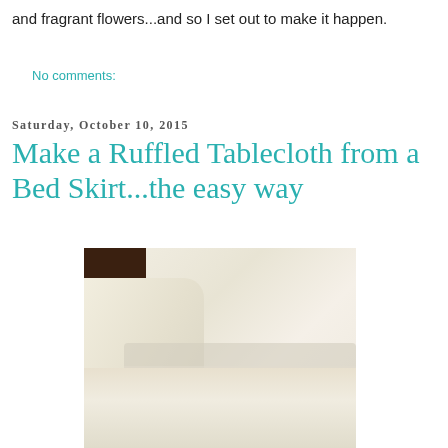and fragrant flowers...and so I set out to make it happen.
No comments:
Saturday, October 10, 2015
Make a Ruffled Tablecloth from a Bed Skirt...the easy way
[Figure (photo): Close-up photograph of a cream/ivory ruffled fabric tablecloth made from a bed skirt, showing ruffle detail along the gather line, with a dark wood surface visible in the upper-left corner.]